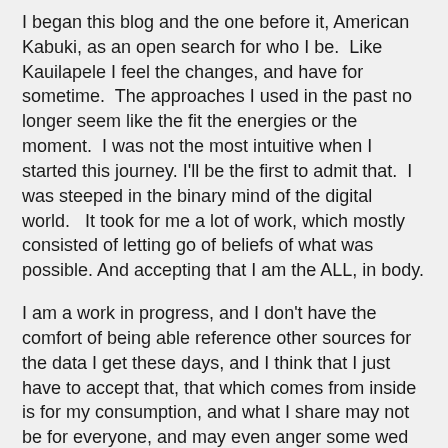I began this blog and the one before it, American Kabuki, as an open search for who I be.  Like Kauilapele I feel the changes, and have for sometime.  The approaches I used in the past no longer seem like the fit the energies or the moment.  I was not the most intuitive when I started this journey. I'll be the first to admit that.  I was steeped in the binary mind of the digital world.   It took for me a lot of work, which mostly consisted of letting go of beliefs of what was possible. And accepting that I am the ALL, in body.
I am a work in progress, and I don't have the comfort of being able reference other sources for the data I get these days, and I think that I just have to accept that, that which comes from inside is for my consumption, and what I share may not be for everyone, and may even anger some wed to certain notions of what is spiritual and what is not.
Spiritual and physical is another separation of something that is not separated, its premises steeped in the European conflict between church and state in the times of Galileo, Copernicus and Des Cartes, of what was profane and sacred, and dividing lines were agreed upon to keep the